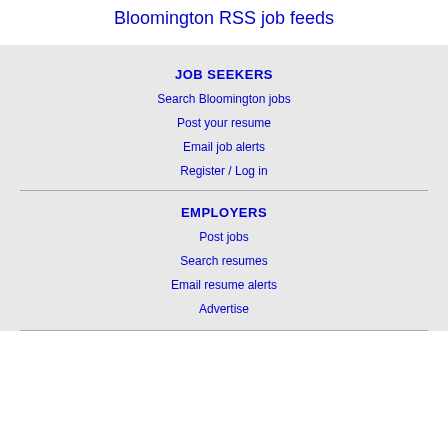Bloomington RSS job feeds
JOB SEEKERS
Search Bloomington jobs
Post your resume
Email job alerts
Register / Log in
EMPLOYERS
Post jobs
Search resumes
Email resume alerts
Advertise